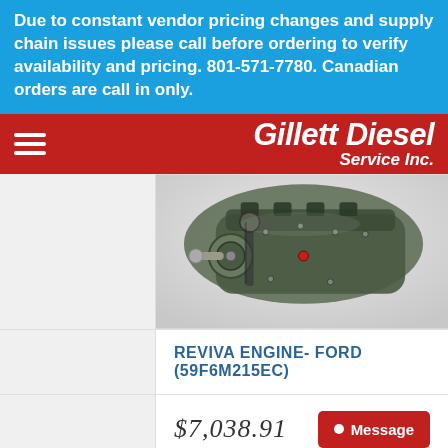Due to constant vendor pricing changes and supply chain issues please call before ordering to verify availability and pricing. 801-571-7780. Canadian orders are call in only.
[Figure (logo): Gillett Diesel Service Inc. logo on red background with hamburger menu icon]
[Figure (photo): Photo of a Reviva remanufactured Ford diesel engine assembly]
REVIVA ENGINE- FORD (59F6M215EC)
$7,038.91
Message
Fits: